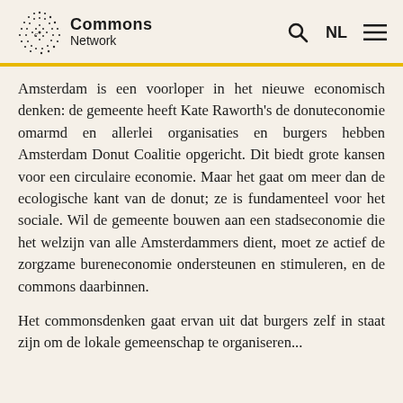Commons Network
Amsterdam is een voorloper in het nieuwe economisch denken: de gemeente heeft Kate Raworth's de donuteconomie omarmd en allerlei organisaties en burgers hebben Amsterdam Donut Coalitie opgericht. Dit biedt grote kansen voor een circulaire economie. Maar het gaat om meer dan de ecologische kant van de donut; ze is fundamenteel voor het sociale. Wil de gemeente bouwen aan een stadseconomie die het welzijn van alle Amsterdammers dient, moet ze actief de zorgzame bureneconomie ondersteunen en stimuleren, en de commons daarbinnen.
Het commonsdenken gaat ervan uit dat burgers zelf in staat zijn om de lokale gemeenschap te organiseren...